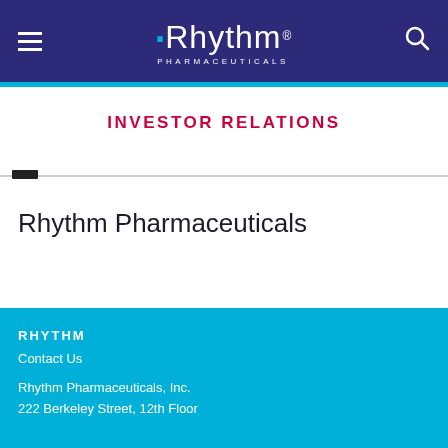Rhythm Pharmaceuticals — Navigation header with logo, hamburger menu, and search icon
INVESTOR RELATIONS
Rhythm Pharmaceuticals
RHYTHM
Contact Us
Rhythm Pharmaceuticals, Inc.
222 Berkeley Street, 12th Floor